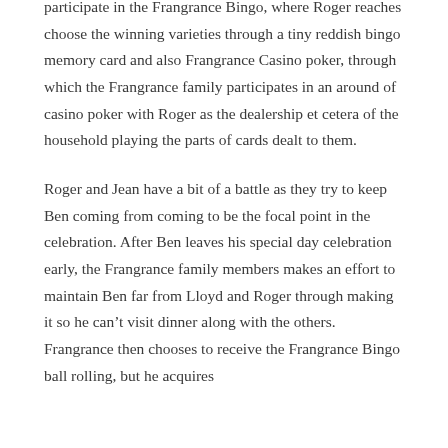participate in the Frangrance Bingo, where Roger reaches choose the winning varieties through a tiny reddish bingo memory card and also Frangrance Casino poker, through which the Frangrance family participates in an around of casino poker with Roger as the dealership et cetera of the household playing the parts of cards dealt to them.
Roger and Jean have a bit of a battle as they try to keep Ben coming from coming to be the focal point in the celebration. After Ben leaves his special day celebration early, the Frangrance family members makes an effort to maintain Ben far from Lloyd and Roger through making it so he can’t visit dinner along with the others. Frangrance then chooses to receive the Frangrance Bingo ball rolling, but he acquires themselves added by the card next to...